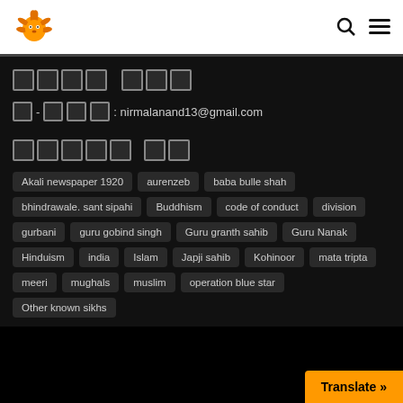[Logo] [Search] [Menu]
[unreadable Hindi/Punjabi text] — name heading
ई - मेल : nirmalanand13@gmail.com
[unreadable Hindi/Punjabi text] — विषय टैग
Akali newspaper 1920
aurenzeb
baba bulle shah
bhindrawale. sant sipahi
Buddhism
code of conduct
division
gurbani
guru gobind singh
Guru granth sahib
Guru Nanak
Hinduism
india
Islam
Japji sahib
Kohinoor
mata tripta
meeri
mughals
muslim
operation blue star
Other known sikhs
Translate »